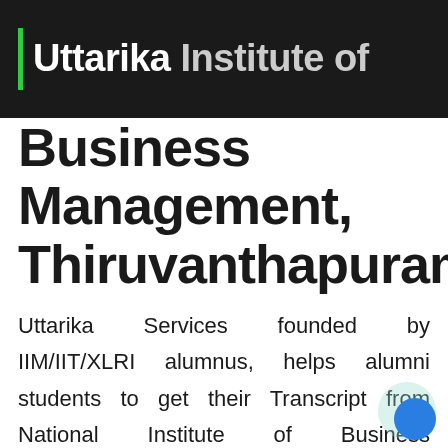Uttarika Institute of Business Management, Thiruvanthapuram
Business Management, Thiruvanthapuram
Uttarika Services founded by IIM/IIT/XLRI alumnus, helps alumni students to get their Transcript from National Institute of Business Management, Thiruvanthapuram and other Records from their respective universities/institutes across India and